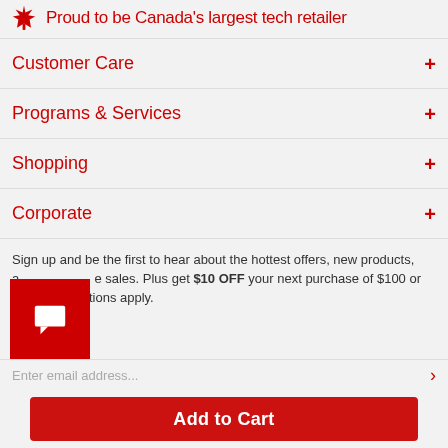Proud to be Canada's largest tech retailer
Customer Care
Programs & Services
Shopping
Corporate
Sign up and be the first to hear about the hottest offers, new products, and exclusive sales. Plus get $10 OFF your next purchase of $100 or more. ^Conditions apply.
Add to Cart